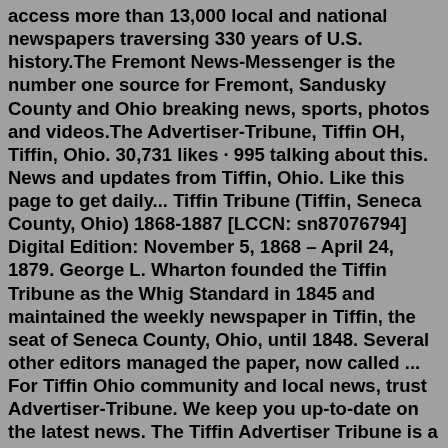access more than 13,000 local and national newspapers traversing 330 years of U.S. history.The Fremont News-Messenger is the number one source for Fremont, Sandusky County and Ohio breaking news, sports, photos and videos.The Advertiser-Tribune, Tiffin OH, Tiffin, Ohio. 30,731 likes · 995 talking about this. News and updates from Tiffin, Ohio. Like this page to get daily... Tiffin Tribune (Tiffin, Seneca County, Ohio) 1868-1887 [LCCN: sn87076794] Digital Edition: November 5, 1868 – April 24, 1879. George L. Wharton founded the Tiffin Tribune as the Whig Standard in 1845 and maintained the weekly newspaper in Tiffin, the seat of Seneca County, Ohio, until 1848. Several other editors managed the paper, now called ... For Tiffin Ohio community and local news, trust Advertiser-Tribune. We keep you up-to-date on the latest news. The Tiffin Advertiser Tribune is a daily newspaper in Tiffin, Ohio, USA covering local news, sports, business, politics and community events. The newspaper is published six days a week - Monday through